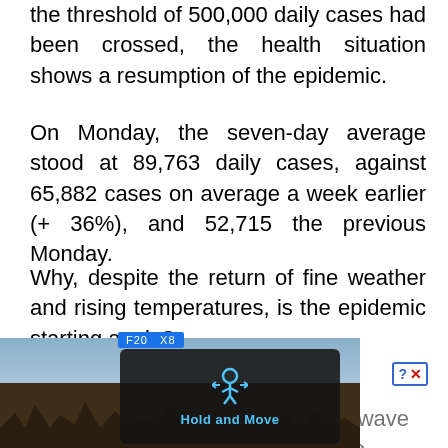the threshold of 500,000 daily cases had been crossed, the health situation shows a resumption of the epidemic.
On Monday, the seven-day average stood at 89,763 daily cases, against 65,882 cases on average a week earlier (+ 36%), and 52,715 the previous Monday.
Why, despite the return of fine weather and rising temperatures, is the epidemic starting again?
Should we be worried about it?
Is this recovery the sign of a mini-wave pullback h two
[Figure (screenshot): Partial photo of outdoor scene with trees and sky, overlaid with a 'Hold and Move' UI dialog (dark background, blue icon of person with arrows, blue text 'Hold and Move'), a 'Close X' button overlay in gray, and a help/close button with question mark and X in blue/red.]